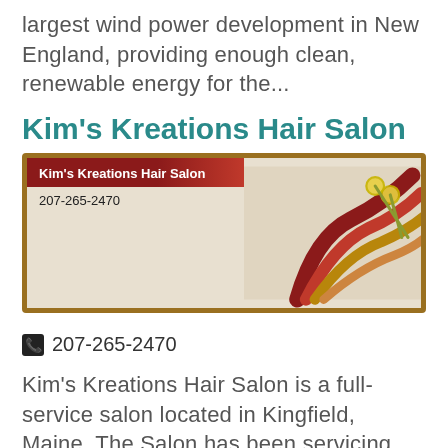largest wind power development in New England, providing enough clean, renewable energy for the...
Kim's Kreations Hair Salon
[Figure (illustration): Kim's Kreations Hair Salon logo banner with red header bar showing salon name, phone number 207-265-2470, and decorative hair/scissors graphic on right side with olive border]
📞 207-265-2470
Kim's Kreations Hair Salon is a full-service salon located in Kingfield, Maine. The Salon has been servicing area clients for over 15 years. Kim's...
Kingfield Historical Society